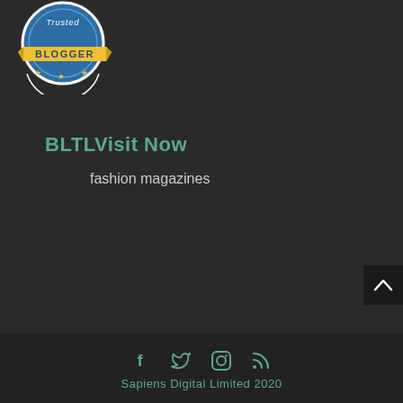[Figure (logo): Trusted Blogger badge/seal with blue circle, yellow ribbon banner reading BLOGGER, and stars]
BLTLVisit Now
fashion magazines
[Figure (other): Scroll-to-top button with upward caret arrow on dark background]
f  twitter  instagram  rss  Sapiens Digital Limited 2020